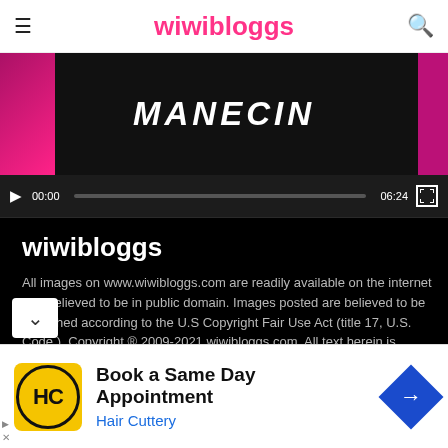wiwibloggs
[Figure (screenshot): Video player showing a music video titled MANECIN with black background, pink/magenta side bars, and player controls showing 00:00 / 06:24]
wiwibloggs
All images on www.wiwibloggs.com are readily available on the internet and believed to be in public domain. Images posted are believed to be published according to the U.S Copyright Fair Use Act (title 17, U.S. Code.). Copyright ® 2009-2021 wiwibloggs.com. All text herein is property of the web site and may not be copied or reproduced without explicit permission.
[Figure (infographic): Advertisement for Hair Cuttery - Book a Same Day Appointment. Shows HC logo in yellow circle on black background, text and a blue navigation diamond icon.]